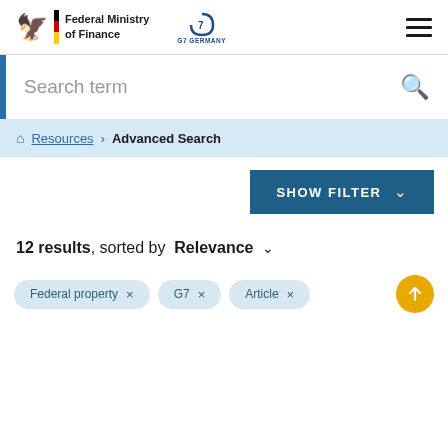Federal Ministry of Finance | G7 Germany
Search term
Resources > Advanced Search
SHOW FILTER
12 results, sorted by Relevance
Federal property ×
G7 ×
Article ×